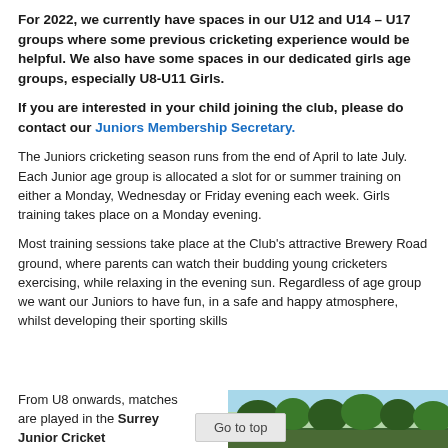For 2022, we currently have spaces in our U12 and U14 – U17 groups where some previous cricketing experience would be helpful. We also have some spaces in our dedicated girls age groups, especially U8-U11 Girls.
If you are interested in your child joining the club, please do contact our Juniors Membership Secretary.
The Juniors cricketing season runs from the end of April to late July. Each Junior age group is allocated a slot for or summer training on either a Monday, Wednesday or Friday evening each week. Girls training takes place on a Monday evening.
Most training sessions take place at the Club's attractive Brewery Road ground, where parents can watch their budding young cricketers exercising, while relaxing in the evening sun. Regardless of age group we want our Juniors to have fun, in a safe and happy atmosphere, whilst developing their sporting skills
From U8 onwards, matches are played in the Surrey Junior Cricket
[Figure (photo): Outdoor cricket ground scene with trees in background and a button labeled 'Go to top']